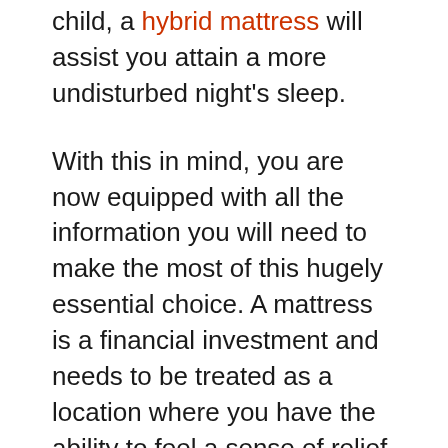child, a hybrid mattress will assist you attain a more undisturbed night's sleep.
With this in mind, you are now equipped with all the information you will need to make the most of this hugely essential choice. A mattress is a financial investment and needs to be treated as a location where you have the ability to feel a sense of relief during the night, and a location where you wake up sensation rested and renewed. This decision is not one which should be rushed. By taking your time to acknowledge the qualities you're looking for in your perfect mattress, and using the information you simply found out, you'll be able to make a practical, informed decision to discover the mattress of